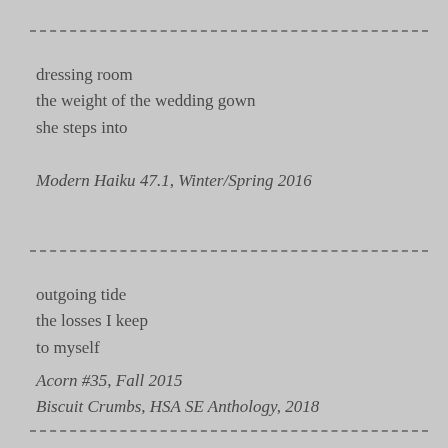dressing room
the weight of the wedding gown
she steps into
Modern Haiku 47.1, Winter/Spring 2016
outgoing tide
the losses I keep
to myself
Acorn #35, Fall 2015
Biscuit Crumbs, HSA SE Anthology, 2018